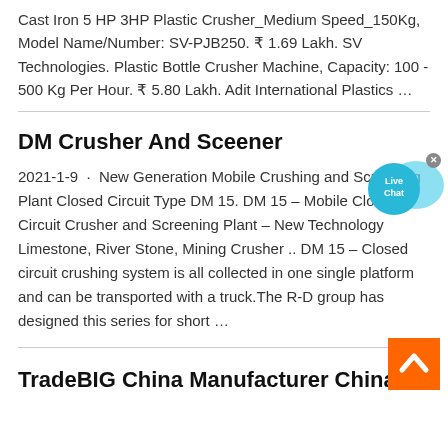Cast Iron 5 HP 3HP Plastic Crusher_Medium Speed_150Kg, Model Name/Number: SV-PJB250. ₹ 1.69 Lakh. SV Technologies. Plastic Bottle Crusher Machine, Capacity: 100 - 500 Kg Per Hour. ₹ 5.80 Lakh. Adit International Plastics …
DM Crusher And Sceener
2021-1-9  ·  New Generation Mobile Crushing and Screening Plant Closed Circuit Type DM 15. DM 15 – Mobile Closed Circuit Crusher and Screening Plant – New Technology Limestone, River Stone, Mining Crusher .. DM 15 – Closed circuit crushing system is all collected in one single platform and can be transported with a truck.The R-D group has designed this series for short …
TradeBIG China Manufacturer China